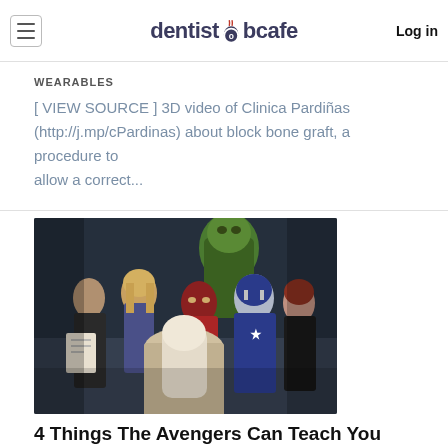dentistjobcafe — Log in
WEARABLES
[ VIEW SOURCE ] 3D video of Clinica Pardiñas (http://j.mp/cPardinas) about block bone graft, a procedure to allow a correct...
[Figure (photo): Group photo of Avengers movie characters including Hulk, Thor, Iron Man, Captain America, Black Widow and others in superhero costumes]
4 Things The Avengers Can Teach You About Writing An Effective Resume